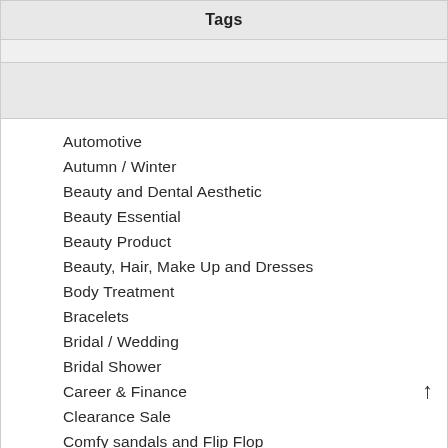Tags
Automotive
Autumn / Winter
Beauty and Dental Aesthetic
Beauty Essential
Beauty Product
Beauty, Hair, Make Up and Dresses
Body Treatment
Bracelets
Bridal / Wedding
Bridal Shower
Career & Finance
Clearance Sale
Comfy sandals and Flip Flop
Courses